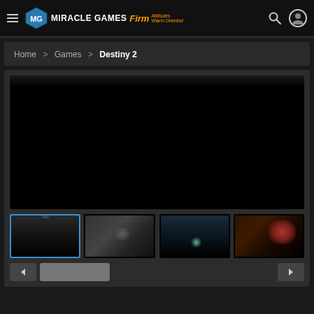Miracle Games Firm Attitudes Warm Oriented
Home > Games > Destiny 2
[Figure (screenshot): Main video player showing a dark/black game screen for Destiny 2, with thumbnail strip below showing 4 game screenshots. First thumbnail is selected (blue border). Navigation controls (prev/next arrows) at bottom.]